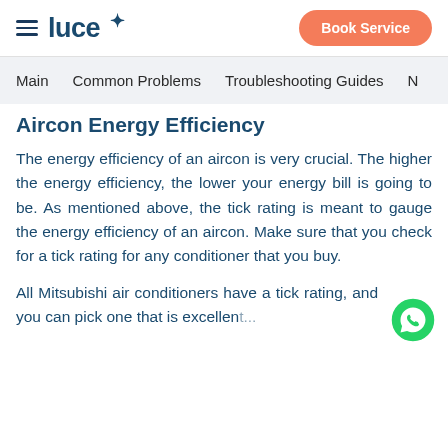luce | Book Service
Main | Common Problems | Troubleshooting Guides | N
Aircon Energy Efficiency
The energy efficiency of an aircon is very crucial. The higher the energy efficiency, the lower your energy bill is going to be. As mentioned above, the tick rating is meant to gauge the energy efficiency of an aircon. Make sure that you check for a tick rating for any conditioner that you buy.
All Mitsubishi air conditioners have a tick rating, and you can pick one that is excellen...